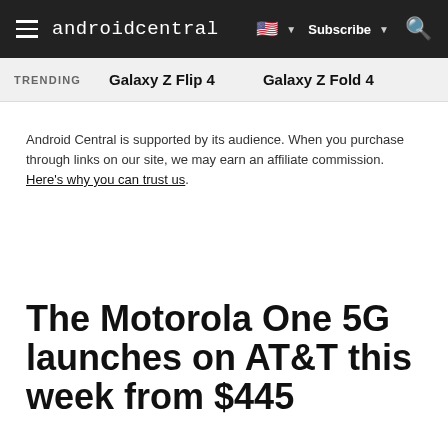androidcentral — Subscribe — Search
TRENDING   Galaxy Z Flip 4   Galaxy Z Fold 4
Android Central is supported by its audience. When you purchase through links on our site, we may earn an affiliate commission. Here's why you can trust us.
The Motorola One 5G launches on AT&T this week from $445